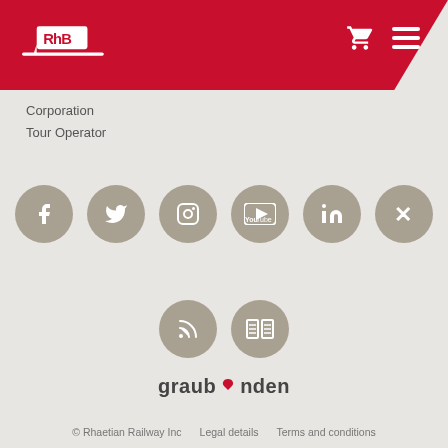[Figure (logo): RhB (Rhaetian Railway) logo in white on red header bar with shopping cart and hamburger menu icons]
Corporation
Tour Operator
[Figure (infographic): Row of 6 social media icons (Facebook, Twitter, Instagram, YouTube, LinkedIn, Xing) as grey circles with white icons, and a second row of 2 icons (RSS feed, magazine/newsletter) as grey circles with white icons]
[Figure (logo): Graubünden tourism logo with stylized bird/ibex mark in red]
© Rhaetian Railway Inc   Legal details   Terms and conditions